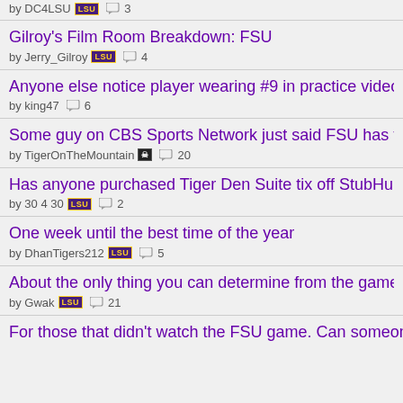by DC4LSU [LSU] 3
Gilroy's Film Room Breakdown: FSU
by Jerry_Gilroy [LSU] 4
Anyone else notice player wearing #9 in practice video?
by king47  6
Some guy on CBS Sports Network just said FSU has testicular fortitude
by TigerOnTheMountain [pirate]  20
Has anyone purchased Tiger Den Suite tix off StubHub?
by 30 4 30 [LSU]  2
One week until the best time of the year
by DhanTigers212 [LSU]  5
About the only thing you can determine from the game tonight.
by Gwak [LSU]  21
For those that didn't watch the FSU game. Can someone briefly analyze